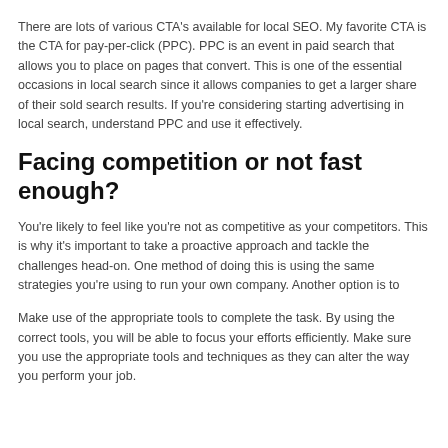There are lots of various CTA's available for local SEO. My favorite CTA is the CTA for pay-per-click (PPC). PPC is an event in paid search that allows you to place on pages that convert. This is one of the essential occasions in local search since it allows companies to get a larger share of their sold search results. If you're considering starting advertising in local search, understand PPC and use it effectively.
Facing competition or not fast enough?
You're likely to feel like you're not as competitive as your competitors. This is why it's important to take a proactive approach and tackle the challenges head-on. One method of doing this is using the same strategies you're using to run your own company. Another option is to
Make use of the appropriate tools to complete the task. By using the correct tools, you will be able to focus your efforts efficiently. Make sure you use the appropriate tools and techniques as they can alter the way you perform your job.